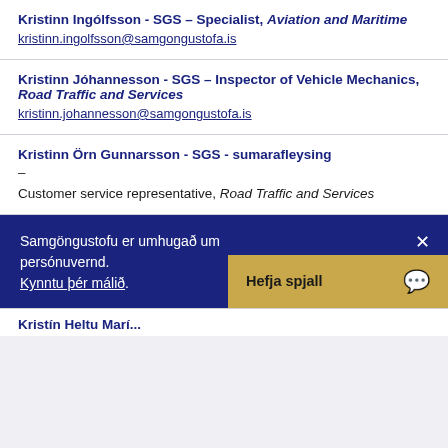Kristinn Ingólfsson - SGS – Specialist, Aviation and Maritime
kristinn.ingolfsson@samgongustofa.is
Kristinn Jóhannesson - SGS – Inspector of Vehicle Mechanics, Road Traffic and Services
kristinn.johannesson@samgongustofa.is
Kristinn Örn Gunnarsson - SGS - sumarafleysing – Customer service representative, Road Traffic and Services
Samgöngustofu er umhugað um persónuvernd. Kynntu þér málið.
Hefja spjall